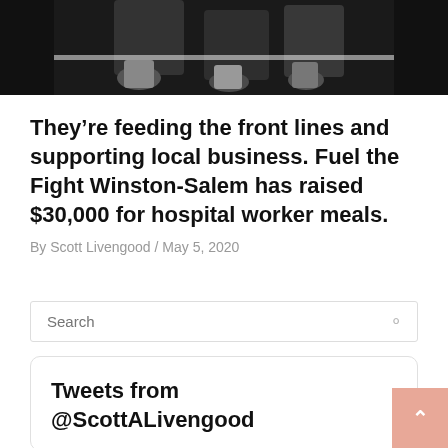[Figure (photo): Cropped photo showing people's feet and shoes standing on a dark floor with a white line, seen from above.]
They're feeding the front lines and supporting local business. Fuel the Fight Winston-Salem has raised $30,000 for hospital worker meals.
By Scott Livengood / May 5, 2020
Search
Tweets from @ScottALivengood